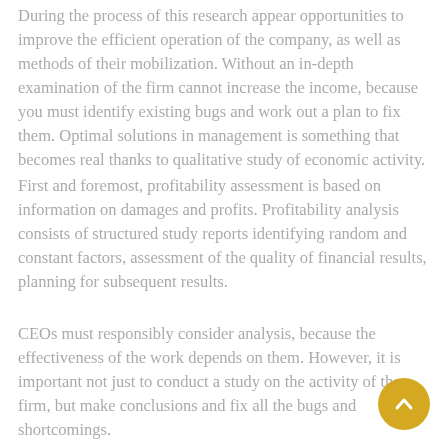During the process of this research appear opportunities to improve the efficient operation of the company, as well as methods of their mobilization. Without an in-depth examination of the firm cannot increase the income, because you must identify existing bugs and work out a plan to fix them. Optimal solutions in management is something that becomes real thanks to qualitative study of economic activity.
First and foremost, profitability assessment is based on information on damages and profits. Profitability analysis consists of structured study reports identifying random and constant factors, assessment of the quality of financial results, planning for subsequent results.
CEOs must responsibly consider analysis, because the effectiveness of the work depends on them. However, it is important not just to conduct a study on the activity of the firm, but make conclusions and fix all the bugs and shortcomings.